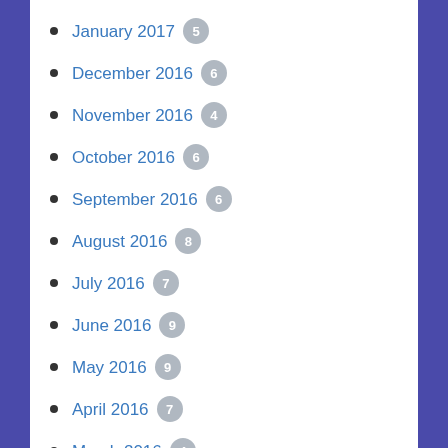January 2017 5
December 2016 6
November 2016 4
October 2016 6
September 2016 6
August 2016 8
July 2016 7
June 2016 9
May 2016 9
April 2016 7
March 2016 4